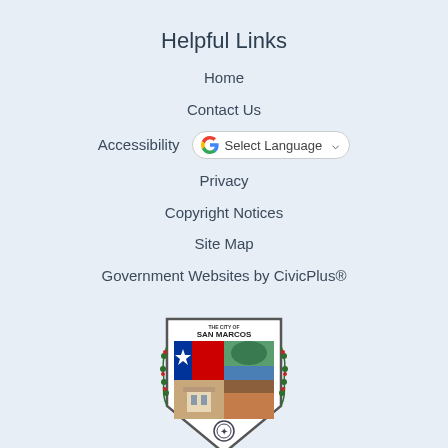Helpful Links
Home
Contact Us
Accessibility
Privacy
Copyright Notices
Site Map
Government Websites by CivicPlus®
[Figure (logo): City of San Marcos shield logo with Texas flag, landscape, building, and wreath]